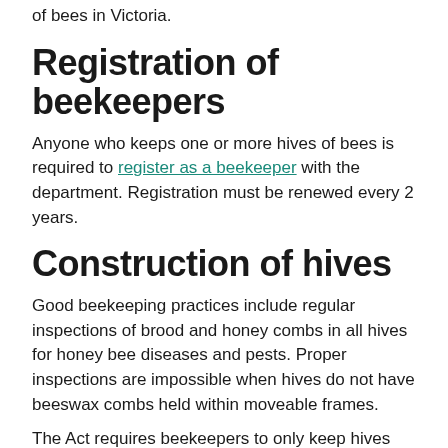of bees in Victoria.
Registration of beekeepers
Anyone who keeps one or more hives of bees is required to register as a beekeeper with the department. Registration must be renewed every 2 years.
Construction of hives
Good beekeeping practices include regular inspections of brood and honey combs in all hives for honey bee diseases and pests. Proper inspections are impossible when hives do not have beeswax combs held within moveable frames.
The Act requires beekeepers to only keep hives that have easily and individually removable frames.